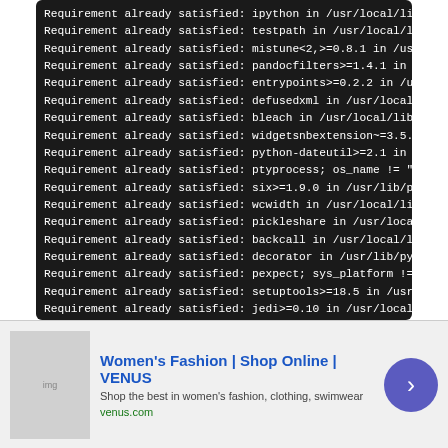[Figure (screenshot): Terminal/console output showing multiple lines of 'Requirement already satisfied:' messages for various Python packages including ipython, testpath, mistune, pandocfilters, entrypoints, defusedxml, bleach, widgetsnbextension, python-dateutil, ptyprocess, six, wcwidth, pickleshare, backcall, decorator, pexpect, setuptools, jedi, webencodings, parso.]
Once Jupyter is installed, we can run it to create a web interface and open it automatically. To do so, type the following. If you run
[Figure (screenshot): Advertisement banner for VENUS women's fashion online shop. Shows 'Women's Fashion | Shop Online | VENUS' title with subtitle 'Shop the best in women's fashion, clothing, swimwear' and URL venus.com. Includes a fashion image and a purple circular arrow button.]